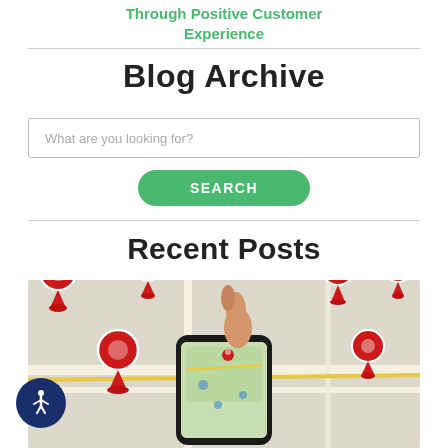Through Positive Customer Experience
Blog Archive
What are you looking for?
SEARCH
Recent Posts
[Figure (photo): A hand pointing at a smartphone with a map app open, surrounded by multiple red location pin markers on a paper map background.]